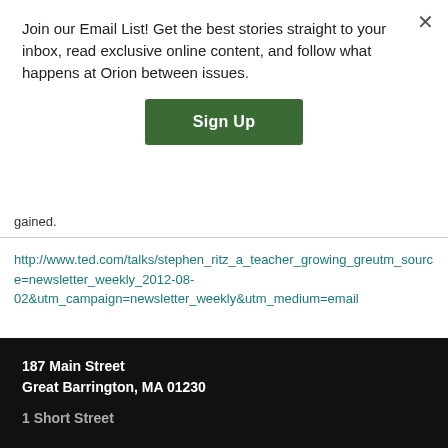Join our Email List! Get the best stories straight to your inbox, read exclusive online content, and follow what happens at Orion between issues.
[Figure (other): Green Sign Up button]
gained.
http://www.ted.com/talks/stephen_ritz_a_teacher_growing_gre... utm_source=newsletter_weekly_2012-08-02&utm_campaign=newsletter_weekly&utm_medium=email
Commenting on this item is closed.
187 Main Street
Great Barrington, MA 01230

1 Short Street